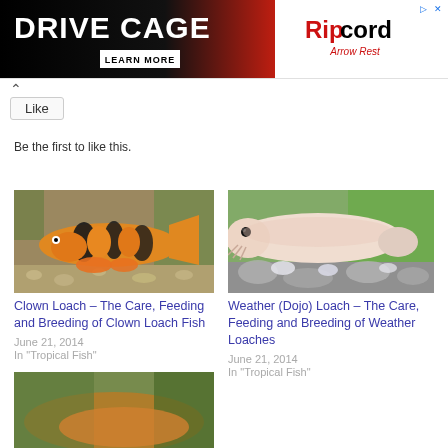[Figure (photo): Drive Cage advertisement banner with Ripcord Arrow Rest branding. Black and red background on left with white text reading DRIVE CAGE and LEARN MORE button. White background on right with Ripcord Arrow Rest logo.]
Be the first to like this.
[Figure (photo): Clown Loach fish - orange and black striped fish with orange fins on gravel substrate]
Clown Loach – The Care, Feeding and Breeding of Clown Loach Fish
June 21, 2014
In "Tropical Fish"
[Figure (photo): Weather (Dojo) Loach - pale pinkish-white fish with whiskers close-up on rocky substrate with green plants in background]
Weather (Dojo) Loach – The Care, Feeding and Breeding of Weather Loaches
June 21, 2014
In "Tropical Fish"
[Figure (photo): Partial view of another tropical fish article image, orange and green colors, cut off at bottom of page]